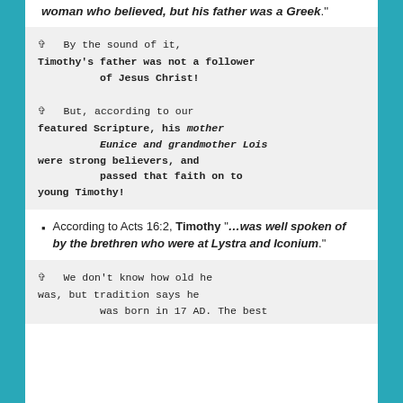woman who believed, but his father was a Greek."
✞  By the sound of it, Timothy's father was not a follower of Jesus Christ!
✞  But, according to our featured Scripture, his mother Eunice and grandmother Lois were strong believers, and passed that faith on to young Timothy!
According to Acts 16:2, Timothy "…was well spoken of by the brethren who were at Lystra and Iconium."
✞  We don't know how old he was, but tradition says he was born in 17 AD. The best